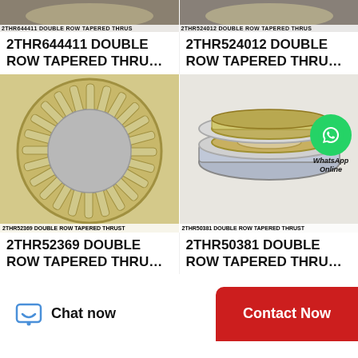[Figure (photo): Top banner image of 2THR644411 double row tapered thrust bearing with label]
[Figure (photo): Top banner image of 2THR524012 double row tapered thrust bearing with label]
2THR644411 DOUBLE ROW TAPERED THRU…
2THR524012 DOUBLE ROW TAPERED THRU…
[Figure (photo): 2THR52369 double row tapered thrust bearing, circular cage view from front with label]
[Figure (photo): 2THR50381 double row tapered thrust bearing with WhatsApp Online badge]
2THR52369 DOUBLE ROW TAPERED THRU…
2THR50381 DOUBLE ROW TAPERED THRU…
Chat now
Contact Now